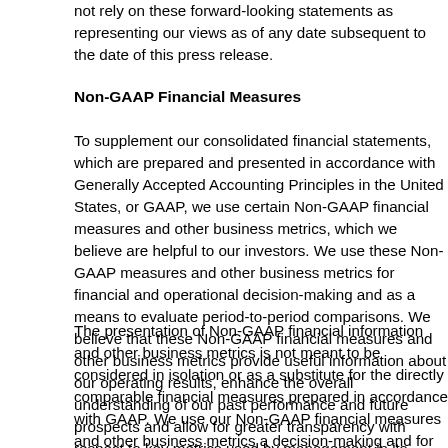not rely on these forward-looking statements as representing our views as of any date subsequent to the date of this press release.
Non-GAAP Financial Measures
To supplement our consolidated financial statements, which are prepared and presented in accordance with Generally Accepted Accounting Principles in the United States, or GAAP, we use certain Non-GAAP financial measures and other business metrics, which we believe are helpful to our investors. We use these Non-GAAP measures and other business metrics for financial and operational decision-making and as a means to evaluate period-to-period comparisons. We believe that these Non-GAAP financial measures and other business metrics provide useful information about our operating results, enhance the overall understanding of our past performance and future prospects and allow for greater transparency with respect to key metrics used by management in its financial and operational decision-making.
The presentation of Non-GAAP financial information and other business metrics is not meant to be considered in isolation or as a substitute for the directly comparable financial measures prepared in accordance with GAAP. We use our Non-GAAP financial measures and other business metrics a decision-making and for evaluating our own operating results over time. We encourage investors to review the reconciliation of these financial measures to the comparable GAAP financial measures. We caution investors not to rely on any single financial measure to evaluate our business.